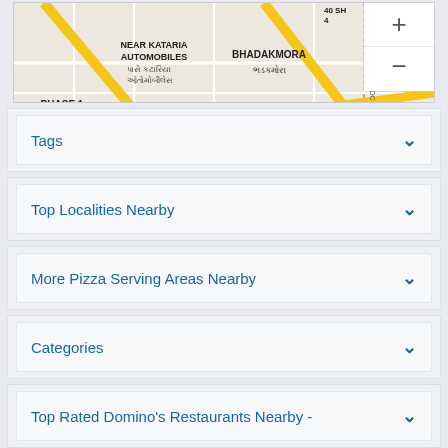[Figure (map): Google Maps screenshot showing area near Kataria Automobiles, Bhadakmora, Phase 1, Sulpad with street map and zoom controls. Map data ©2022, Keyboard shortcuts, Terms of Use shown.]
Tags
Top Localities Nearby
More Pizza Serving Areas Nearby
Categories
Top Rated Domino's Restaurants Nearby -